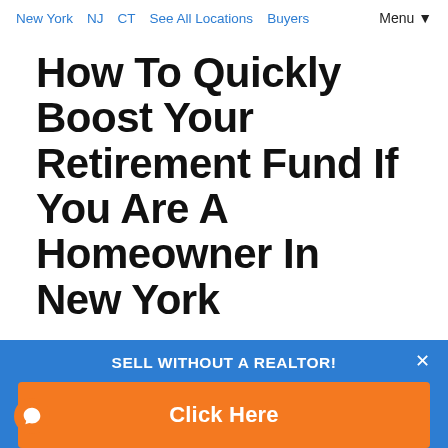New York  NJ  CT  See All Locations  Buyers  Menu▼
How To Quickly Boost Your Retirement Fund If You Are A Homeowner In New York
April 22, 2020
By Dave Brown
SELL WITHOUT A REALTOR!
Click Here